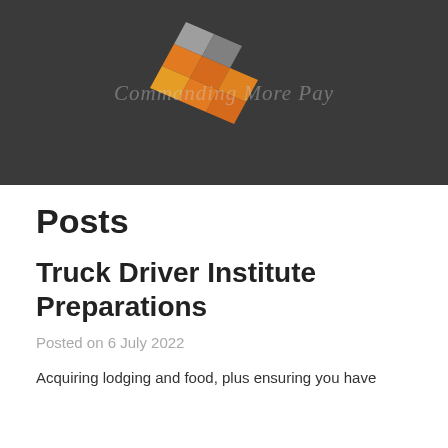[Figure (logo): Diamond/checkerboard logo with grey, orange and gold colored tiles arranged in a flag-like pattern, with italic script text overlay reading 'Commanding More Pay']
Posts
Truck Driver Institute Preparations
Posted on 6 July 2022
Acquiring lodging and food, plus ensuring you have